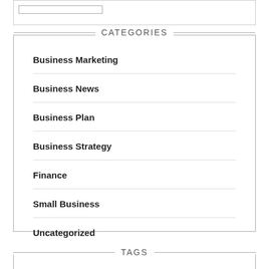CATEGORIES
Business Marketing
Business News
Business Plan
Business Strategy
Finance
Small Business
Uncategorized
TAGS